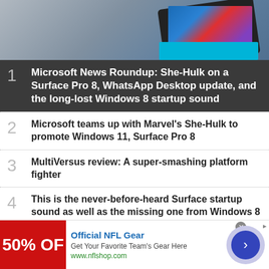[Figure (photo): Photo of a Microsoft Surface Pro tablet with a cyan keyboard cover, shown at an angle on a gray surface]
1 Microsoft News Roundup: She-Hulk on a Surface Pro 8, WhatsApp Desktop update, and the long-lost Windows 8 startup sound
2 Microsoft teams up with Marvel's She-Hulk to promote Windows 11, Surface Pro 8
3 MultiVersus review: A super-smashing platform fighter
4 This is the never-before-heard Surface startup sound as well as the missing one from Windows 8
[Figure (infographic): Advertisement banner: Official NFL Gear, 50% OFF, Get Your Favorite Team's Gear Here, www.nflshop.com, with arrow button]